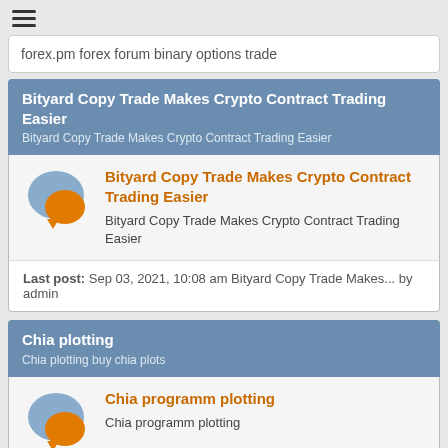≡
forex.pm forex forum binary options trade
Bityard Copy Trade Makes Crypto Contract Trading Easier
Bityard Copy Trade Makes Crypto Contract Trading Easier
Bityard Copy Trade Makes Crypto Contract Trading Easier
Bityard Copy Trade Makes Crypto Contract Trading Easier
Last post: Sep 03, 2021, 10:08 am Bityard Copy Trade Makes... by admin
Chia plotting
Chai plotting buy chia plots
Chia programm plotting
Chia programm plotting
Last post: Jun 08, 2021, 03:46 pm Chia Proof of Space by admin